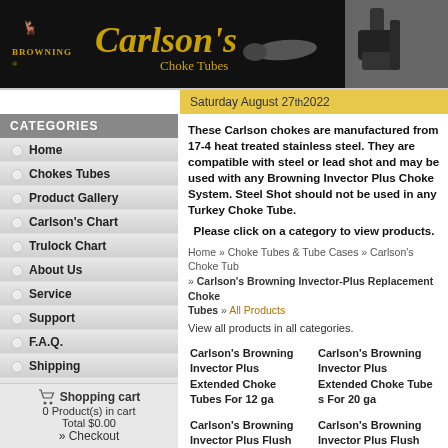[Figure (logo): Browning and Carlson's Choke Tubes header banner with logo and product image]
Saturday August 27th 2022
CATEGORIES
Home
Chokes Tubes
Product Gallery
Carlson's Chart
Trulock Chart
About Us
Service
Support
F.A.Q.
Shipping
Returns
Terms
Links of Interest
Shopping cart
0 Product(s) in cart
Total $0.00
» Checkout
These Carlson chokes are manufactured from 17-4 heat treated stainless steel. They are compatible with steel or lead shot and may be used with any Browning Invector Plus Choke System. Steel Shot should not be used in any Turkey Choke Tube.
Please click on a category to view products.
Home » Choke Tubes & Tube Cases » Carlson's Choke Tubes » Carlson's Browning Invector-Plus Replacement Choke Tubes » All Products
View all products in all categories.
Carlson's Browning Invector Plus Extended Choke Tubes For 12 ga
Carlson's Browning Invector Plus Extended Choke Tubes For 20 ga
Carlson's Browning Invector Plus Flush Choke Tubes For 12 ga
Carlson's Browning Invector Plus Flush Choke Tubes For 20 ga
Carlson's Browning Invector Plus Lead Shot Choke Tubes For...
Carlson's Browning Invector Plus Lead Shot Choke Tubes For...